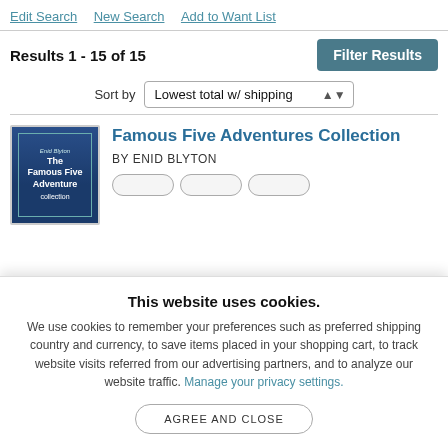Edit Search   New Search   Add to Want List
Results 1 - 15 of 15
Sort by  Lowest total w/ shipping
[Figure (illustration): Book cover for The Famous Five Adventure Collection by Enid Blyton, blue cover with decorative border]
Famous Five Adventures Collection
BY ENID BLYTON
This website uses cookies.
We use cookies to remember your preferences such as preferred shipping country and currency, to save items placed in your shopping cart, to track website visits referred from our advertising partners, and to analyze our website traffic. Manage your privacy settings.
AGREE AND CLOSE